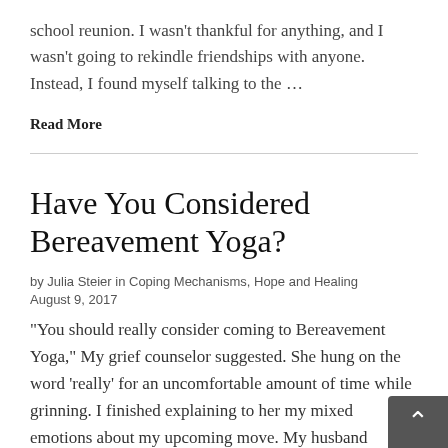school reunion. I wasn't thankful for anything, and I wasn't going to rekindle friendships with anyone. Instead, I found myself talking to the …
Read More
Have You Considered Bereavement Yoga?
by Julia Steier in Coping Mechanisms, Hope and Healing August 9, 2017
“You should really consider coming to Bereavement Yoga,” My grief counselor suggested. She hung on the word 'really' for an uncomfortable amount of time while grinning. I finished explaining to her my mixed emotions about my upcoming move. My husband